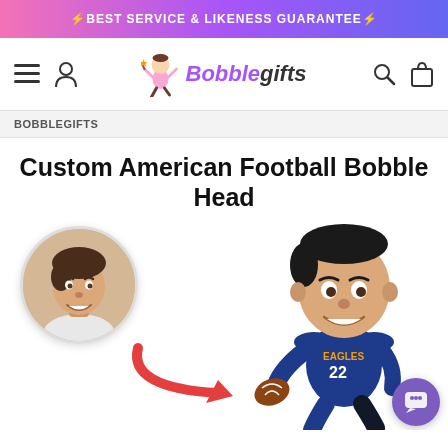⚡BEST SERVICE & LIKENESS GUARANTEE⚡
[Figure (logo): Bobblegifts logo with cartoon character and purple italic text]
BOBBLEGIFTS
Custom American Football Bobble Head
[Figure (photo): Circular photo of a young man with dark hair smiling, with a red curved arrow pointing right toward a custom bobblehead figurine of an American football player in blue Eagles #22 jersey holding a football]